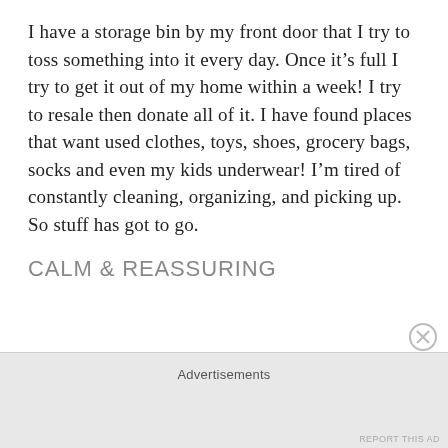I have a storage bin by my front door that I try to toss something into it every day. Once it's full I try to get it out of my home within a week! I try to resale then donate all of it. I have found places that want used clothes, toys, shoes, grocery bags, socks and even my kids underwear! I'm tired of constantly cleaning, organizing, and picking up. So stuff has got to go.
CALM & REASSURING
Advertisements